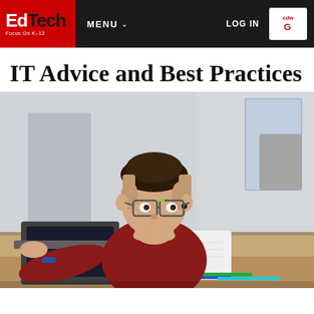EdTech Focus On K-12 | MENU | LOG IN | CDW-G
IT Advice and Best Practices
[Figure (photo): A young boy wearing glasses and a red sweater sits at a desk looking at a laptop, with an open book and colored pens in front of him. Background shows a blurred room interior.]